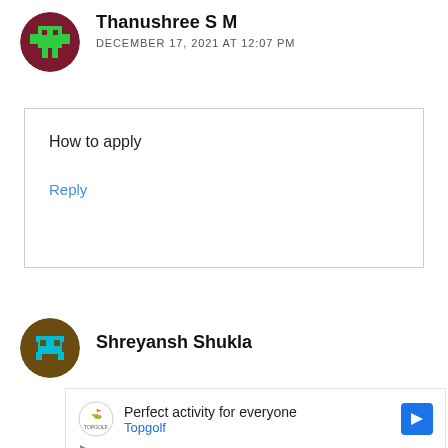Thanushree S M
DECEMBER 17, 2021 AT 12:07 PM
How to apply
Reply
Shreyansh Shukla
[Figure (other): Advertisement for Topgolf: 'Perfect activity for everyone' with Topgolf logo and navigation arrow button]